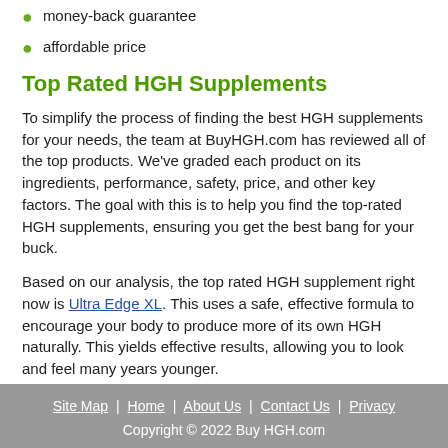money-back guarantee
affordable price
Top Rated HGH Supplements
To simplify the process of finding the best HGH supplements for your needs, the team at BuyHGH.com has reviewed all of the top products. We've graded each product on its ingredients, performance, safety, price, and other key factors. The goal with this is to help you find the top-rated HGH supplements, ensuring you get the best bang for your buck.
Based on our analysis, the top rated HGH supplement right now is Ultra Edge XL. This uses a safe, effective formula to encourage your body to produce more of its own HGH naturally. This yields effective results, allowing you to look and feel many years younger.
The makers of HGH Factor are now offering a free trial, letting you capture the benefits of HGH at no risk to you. Learn more today.
Site Map | Home | About Us | Contact Us | Privacy
Copyright © 2022 Buy HGH.com